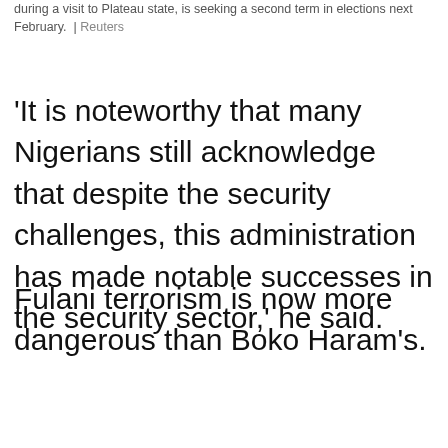during a visit to Plateau state, is seeking a second term in elections next February. | Reuters
'It is noteworthy that many Nigerians still acknowledge that despite the security challenges, this administration has made notable successes in the security sector,' he said.
Fulani terrorism is now more dangerous than Boko Haram's.